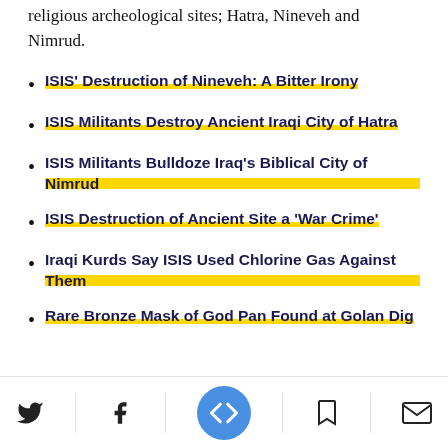religious archeological sites; Hatra, Nineveh and Nimrud.
ISIS' Destruction of Nineveh: A Bitter Irony
ISIS Militants Destroy Ancient Iraqi City of Hatra
ISIS Militants Bulldoze Iraq's Biblical City of Nimrud
ISIS Destruction of Ancient Site a 'War Crime'
Iraqi Kurds Say ISIS Used Chlorine Gas Against Them
Rare Bronze Mask of God Pan Found at Golan Dig
Twitter | Facebook | Newsweek | Bookmark | Mail